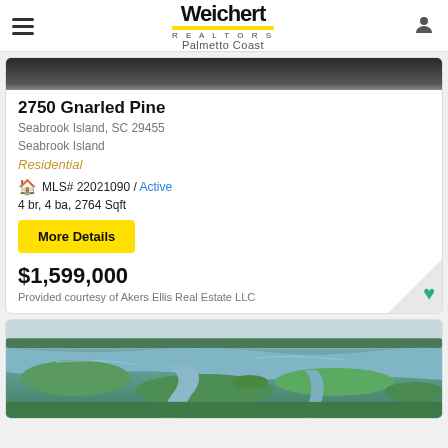Weichert REALTORS Palmetto Coast
[Figure (photo): Top portion of a listing property photo (dark/night exterior)]
2750 Gnarled Pine
Seabrook Island, SC 29455
Seabrook Island
Residential
MLS# 22021090 / Active
4 br, 4 ba, 2764 Sqft
More Details
$1,599,000
Provided courtesy of Akers Ellis Real Estate LLC
[Figure (photo): Aerial photograph of Seabrook Island marshland with waterways and green vegetation]